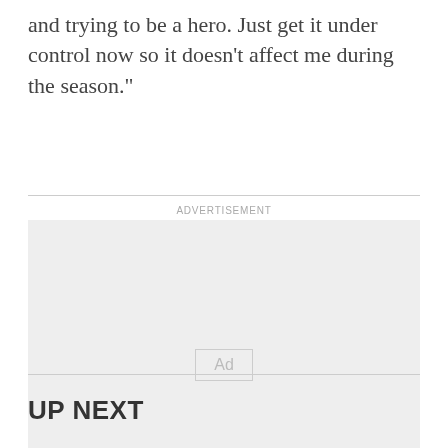and trying to be a hero. Just get it under control now so it doesn’t affect me during the season.”
ADVERTISEMENT
[Figure (other): Advertisement placeholder box with 'Ad' label in center]
UP NEXT